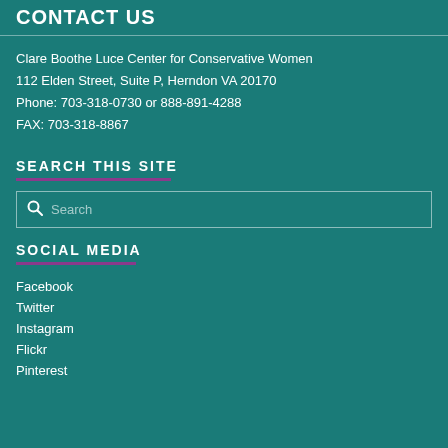CONTACT US
Clare Boothe Luce Center for Conservative Women
112 Elden Street, Suite P, Herndon VA 20170
Phone: 703-318-0730 or 888-891-4288
FAX: 703-318-8867
SEARCH THIS SITE
[Figure (other): Search input box with magnifying glass icon and placeholder text 'Search']
SOCIAL MEDIA
Facebook
Twitter
Instagram
Flickr
Pinterest